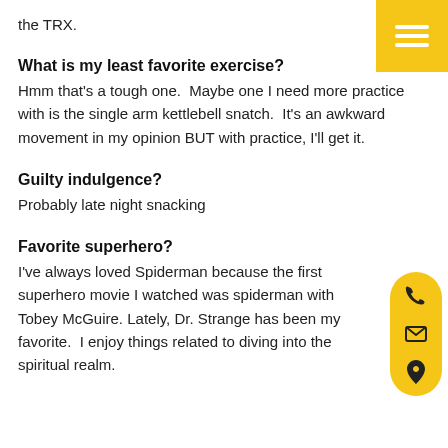the TRX.
[Figure (other): Yellow hamburger menu button in top-right corner]
What is my least favorite exercise?
Hmm that's a tough one.  Maybe one I need more practice with is the single arm kettlebell snatch.  It's an awkward movement in my opinion BUT with practice, I'll get it.
Guilty indulgence?
Probably late night snacking
Favorite superhero?
I've always loved Spiderman because the first superhero movie I watched was spiderman with Tobey McGuire. Lately, Dr. Strange has been my favorite.  I enjoy things related to diving into the spiritual realm.
[Figure (other): Yellow floating widget with phone, email, and location icons]